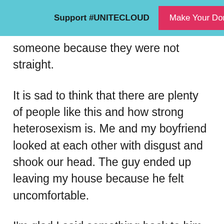Support #UNITECLOUD  Make Your Donation
someone because they were not straight.
It is sad to think that there are plenty of people like this and how strong heterosexism is. Me and my boyfriend looked at each other with disgust and shook our head. The guy ended up leaving my house because he felt uncomfortable.
I'm glad I said something back to him because he probably thought one of us